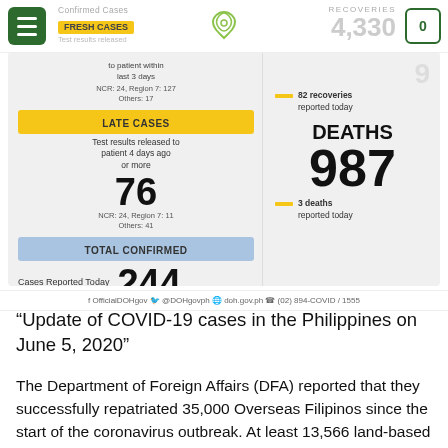Confirmed Cases | FRESH CASES | Test results released | RECOVERIES 4,330 | 0
[Figure (infographic): DOH Philippines COVID-19 statistics infographic showing: Late Cases (test results released to patient 4 days ago or more): 76, NCR: 24, Region 7: 11, Others: 41. Total Confirmed Cases Reported Today: 244. Deaths: 987, 3 deaths reported today. 82 recoveries reported today. NCR: 24, Region 7: 127, Others: 17.]
OfficialDOHgov | @DOHgovph | doh.gov.ph | (02) 894-COVID / 1555
“Update of COVID-19 cases in the Philippines on June 5, 2020”
The Department of Foreign Affairs (DFA) reported that they successfully repatriated 35,000 Overseas Filipinos since the start of the coronavirus outbreak. At least 13,566 land-based overseas Filipinos and 21,829 cruise ship crews returned to Manila. Foreign